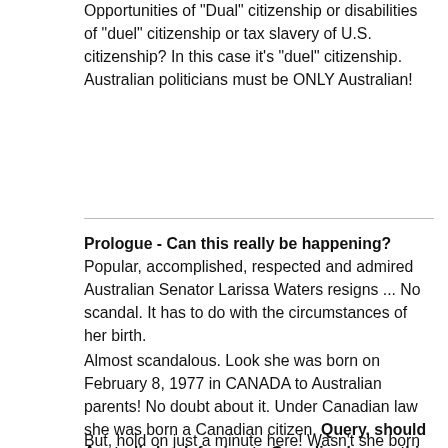Opportunities of "Dual" citizenship or disabilities of "duel" citizenship or tax slavery of U.S. citizenship? In this case it's "duel" citizenship. Australian politicians must be ONLY Australian!
Prologue - Can this really be happening? Popular, accomplished, respected and admired Australian Senator Larissa Waters resigns ... No scandal. It has to do with the circumstances of her birth.
Almost scandalous. Look she was born on February 8, 1977 in CANADA to Australian parents! No doubt about it. Under Canadian law she was born a Canadian citizen. Query, should Australia be deferring to Canadian law on this matter?
But, hold on just a minute here! Wasn't she born an